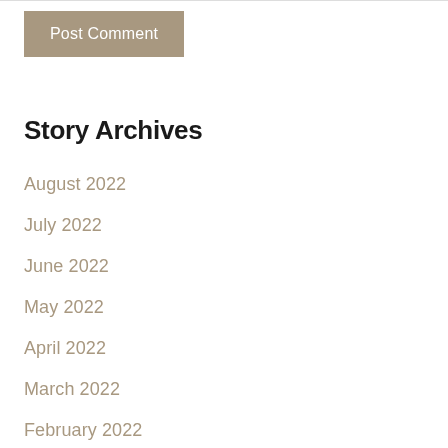Post Comment
Story Archives
August 2022
July 2022
June 2022
May 2022
April 2022
March 2022
February 2022
January 2022